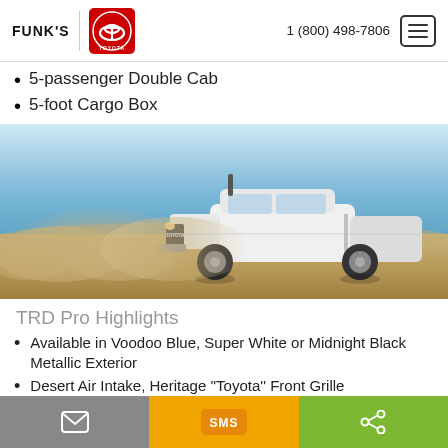FUNK'S TOYOTA | 1 (800) 498-7806
5-passenger Double Cab
5-foot Cargo Box
[Figure (photo): White Toyota Tacoma TRD Pro truck driving through dirt/desert terrain kicking up dust, blue sky background]
TRD Pro Highlights
Available in Voodoo Blue, Super White or Midnight Black Metallic Exterior
Desert Air Intake, Heritage "Toyota" Front Grille
Rigid Industries® LED Fog Lights, and Black Chrome